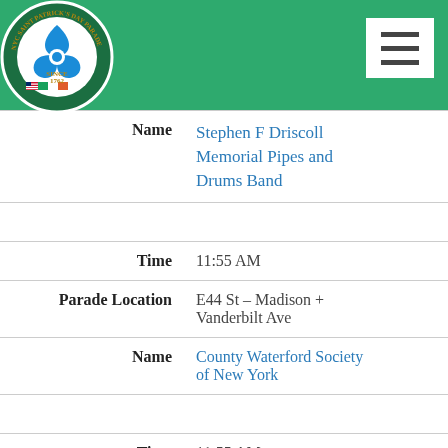[Figure (logo): NYC Saint Patrick's Day Parade logo, circular badge with shamrock and flags, Since 1762]
| Field | Value |
| --- | --- |
| Name | Stephen F Driscoll Memorial Pipes and Drums Band |
| Time | 11:55 AM |
| Parade Location | E44 St – Madison + Vanderbilt Ave |
| Name | County Waterford Society of New York |
| Time | 11:55 AM |
| Parade Location | E44 St – Madison + Vanderbilt Ave |